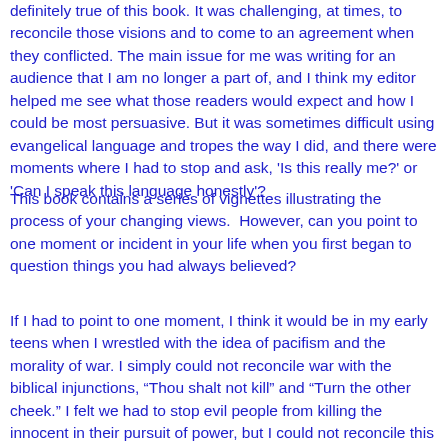definitely true of this book. It was challenging, at times, to reconcile those visions and to come to an agreement when they conflicted. The main issue for me was writing for an audience that I am no longer a part of, and I think my editor helped me see what those readers would expect and how I could be most persuasive. But it was sometimes difficult using evangelical language and tropes the way I did, and there were moments where I had to stop and ask, 'Is this really me?' or 'Can I speak this language honestly'?
This book contains a series of vignettes illustrating the process of your changing views.  However, can you point to one moment or incident in your life when you first began to question things you had always believed?
If I had to point to one moment, I think it would be in my early teens when I wrestled with the idea of pacifism and the morality of war. I simply could not reconcile war with the biblical injunctions, “Thou shalt not kill” and “Turn the other cheek.” I felt we had to stop evil people from killing the innocent in their pursuit of power, but I could not reconcile this ugly reality with what Jesus taught. This was the first time that I grappled with an issue where the moral answer was not at all clear to me, and I began to wonder if